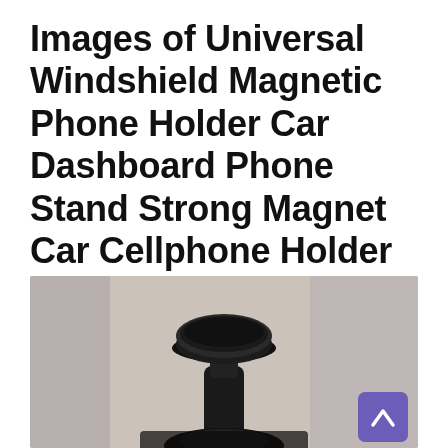Images of Universal Windshield Magnetic Phone Holder Car Dashboard Phone Stand Strong Magnet Car Cellphone Holder For iPhone 8 X SE 2020
[Figure (photo): Photograph of a black universal windshield/dashboard magnetic phone holder/car mount, showing the suction cup base and magnetic ball joint head, with a blurred grey background. A purple scroll-to-top button with a caret/chevron icon is overlaid in the bottom-right corner.]